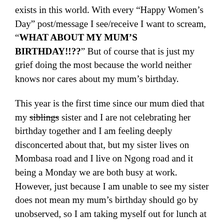exists in this world. With every “Happy Women’s Day” post/message I see/receive I want to scream, “WHAT ABOUT MY MUM’S BIRTHDAY!!??” But of course that is just my grief doing the most because the world neither knows nor cares about my mum’s birthday.
This year is the first time since our mum died that my siblings sister and I are not celebrating her birthday together and I am feeling deeply disconcerted about that, but my sister lives on Mombasa road and I live on Ngong road and it being a Monday we are both busy at work. However, just because I am unable to see my sister does not mean my mum’s birthday should go by unobserved, so I am taking myself out for lunch at a dope ass restaurant today to celebrate my mum and the life she lived.